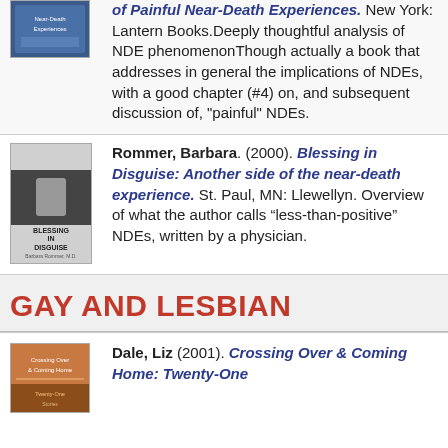of Painful Near-Death Experiences. New York: Lantern Books.Deeply thoughtful analysis of NDE phenomenonThough actually a book that addresses in general the implications of NDEs, with a good chapter (#4) on, and subsequent discussion of, "painful" NDEs.
Rommer, Barbara. (2000). Blessing in Disguise: Another side of the near-death experience. St. Paul, MN: Llewellyn. Overview of what the author calls “less-than-positive” NDEs, written by a physician.
GAY AND LESBIAN
Dale, Liz (2001). Crossing Over & Coming Home: Twenty-One